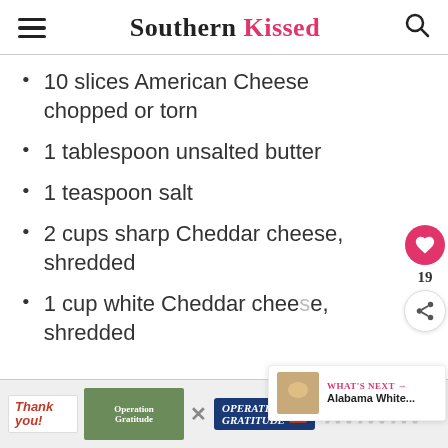Southern Kissed
10 slices American Cheese chopped or torn
1 tablespoon unsalted butter
1 teaspoon salt
2 cups sharp Cheddar cheese, shredded
1 cup white Cheddar cheese, shredded
[Figure (screenshot): Advertisement banner with 'Thank you!' text and Operation Gratitude imagery]